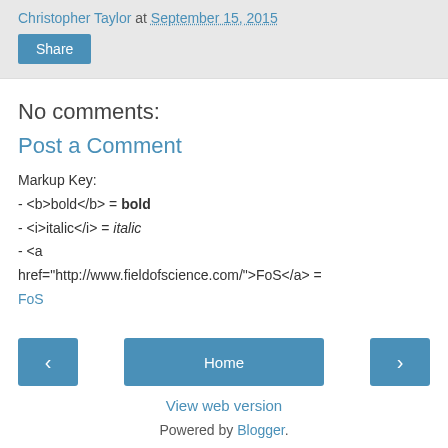Christopher Taylor at September 15, 2015
Share
No comments:
Post a Comment
Markup Key:
- <b>bold</b> = bold
- <i>italic</i> = italic
- <a href="http://www.fieldofscience.com/">FoS</a> = FoS
‹  Home  ›
View web version
Powered by Blogger.